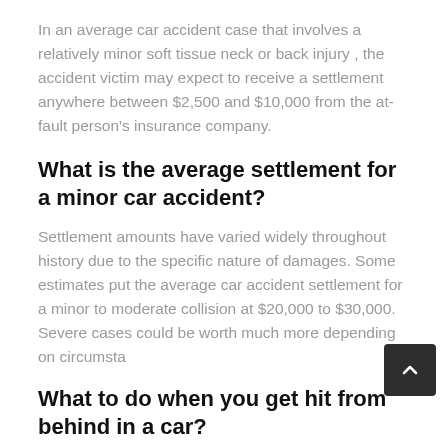In an average car accident case that involves a relatively minor soft tissue neck or back injury , the accident victim may expect to receive a settlement anywhere between $2,500 and $10,000 from the at-fault person's insurance company.
What is the average settlement for a minor car accident?
Settlement amounts have varied widely throughout history due to the specific nature of damages. Some estimates put the average car accident settlement for a minor to moderate collision at $20,000 to $30,000. Severe cases could be worth much more depending on circumsta
What to do when you get hit from behind in a car?
What to Do When You're Rear-Ended: Take down the other